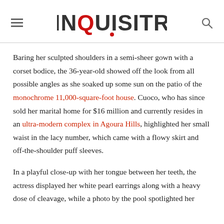INQUISITR
Baring her sculpted shoulders in a semi-sheer gown with a corset bodice, the 36-year-old showed off the look from all possible angles as she soaked up some sun on the patio of the monochrome 11,000-square-foot house. Cuoco, who has since sold her marital home for $16 million and currently resides in an ultra-modern complex in Agoura Hills, highlighted her small waist in the lacy number, which came with a flowy skirt and off-the-shoulder puff sleeves.
In a playful close-up with her tongue between her teeth, the actress displayed her white pearl earrings along with a heavy dose of cleavage, while a photo by the pool spotlighted her